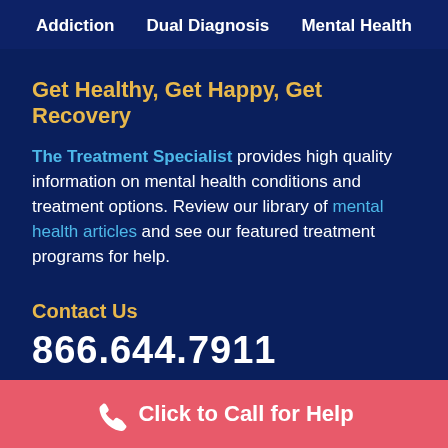Addiction   Dual Diagnosis   Mental Health
Get Healthy, Get Happy, Get Recovery
The Treatment Specialist provides high quality information on mental health conditions and treatment options. Review our library of mental health articles and see our featured treatment programs for help.
Contact Us
866.644.7911
Click to Call for Help